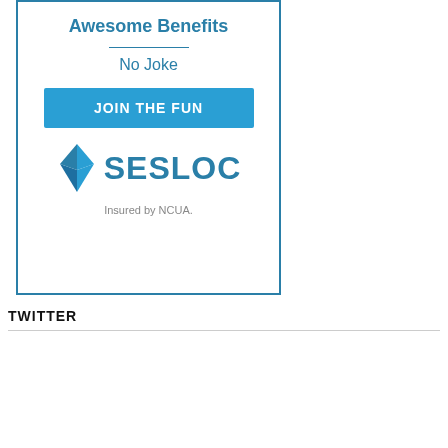[Figure (logo): SESLOC credit union advertisement box with 'Awesome Benefits', 'No Joke', 'JOIN THE FUN' button, SESLOC logo with diamond icon, and 'Insured by NCUA.' text]
TWITTER